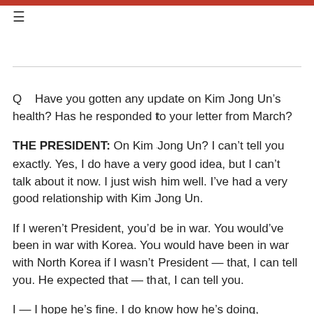≡
Q    Have you gotten any update on Kim Jong Un's health?  Has he responded to your letter from March?
THE PRESIDENT:  On Kim Jong Un?  I can't tell you exactly.  Yes, I do have a very good idea, but I can't talk about it now.  I just wish him well.  I've had a very good relationship with Kim Jong Un.
If I weren't President, you'd be in war.  You would've been in war with Korea.  You would have been in war with North Korea if I wasn't President — that, I can tell you.  He expected that — that, I can tell you.
I — I hope he's fine.  I do know how he's doing, relatively